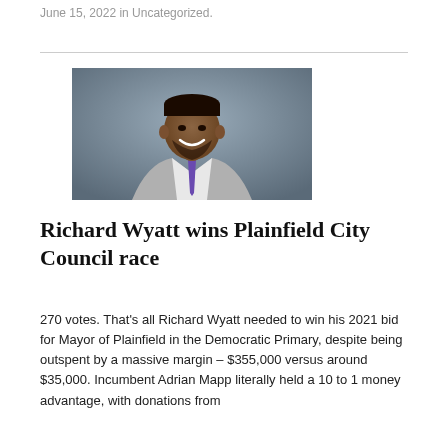June 15, 2022 in Uncategorized.
[Figure (photo): Portrait photo of Richard Wyatt, a man in a grey suit with a purple tie, smiling, against a grey background.]
Richard Wyatt wins Plainfield City Council race
270 votes. That's all Richard Wyatt needed to win his 2021 bid for Mayor of Plainfield in the Democratic Primary, despite being outspent by a massive margin – $355,000 versus around $35,000. Incumbent Adrian Mapp literally held a 10 to 1 money advantage, with donations from